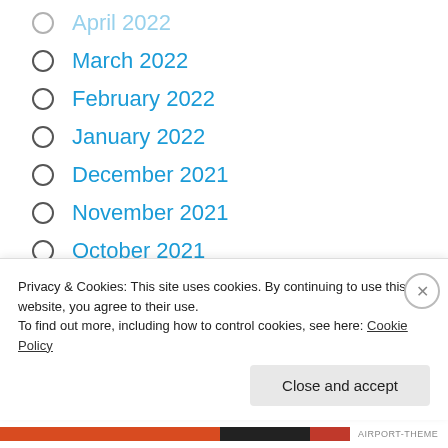April 2022
March 2022
February 2022
January 2022
December 2021
November 2021
October 2021
September 2021
August 2021
July 2021
June 2021
Privacy & Cookies: This site uses cookies. By continuing to use this website, you agree to their use.
To find out more, including how to control cookies, see here: Cookie Policy
AIRPORT-THEME